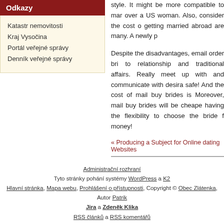Odkazy
Katastr nemovitosti
Kraj Vysočina
Portál veřejné správy
Denník veřejné správy
style. It might be more compatible to mar over a US woman. Also, consider the cost o getting married abroad are many. A newly p
Despite the disadvantages, email order bri to relationship and traditional affairs. Really meet up with and communicate with desira safe! And the cost of mail buy brides is Moreover, mail buy brides will be cheape having the flexibility to choose the bride f money!
« Producing a Subject for Online dating Websites
Administrační rozhraní
Tyto stránky pohání systémy WordPress a K2
Hlavní stránka, Mapa webu, Prohlášení o přístupnosti, Copyright © Obec Zlátenka, Autor Patrik Jira a Zdeněk Klika
RSS článků a RSS komentářů